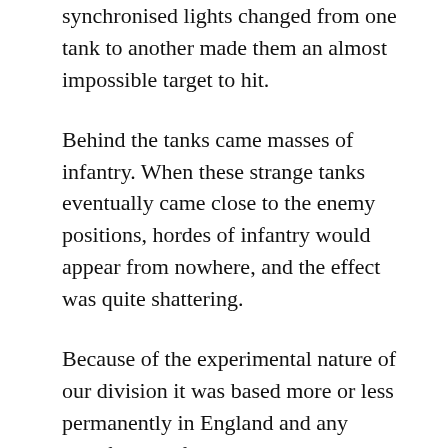synchronised lights changed from one tank to another made them an almost impossible target to hit.
Behind the tanks came masses of infantry. When these strange tanks eventually came close to the enemy positions, hordes of infantry would appear from nowhere, and the effect was quite shattering.
Because of the experimental nature of our division it was based more or less permanently in England and any transfer out of the division was almost impossible to obtain. Tony and I had at various times volunteered for the Glider Pilot Regiment, the Commandos and the Merchant Navy, but our applications had never